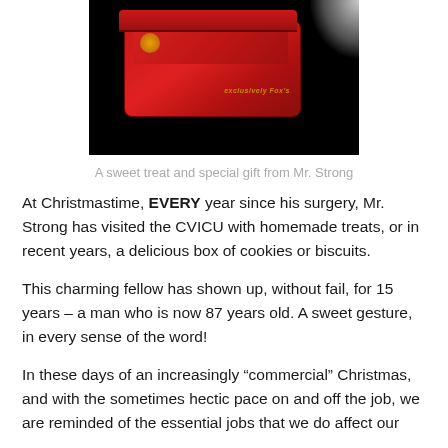[Figure (photo): A red decorative tin box of cookies or biscuits on a dark background, with gold ornamental decoration on the lid.]
A sweet treat and special gift from Mr. Strong
At Christmastime, EVERY year since his surgery, Mr. Strong has visited the CVICU with homemade treats, or in recent years, a delicious box of cookies or biscuits.
This charming fellow has shown up, without fail, for 15 years – a man who is now 87 years old. A sweet gesture, in every sense of the word!
In these days of an increasingly “commercial” Christmas, and with the sometimes hectic pace on and off the job, we are reminded of the essential jobs that we do affect our